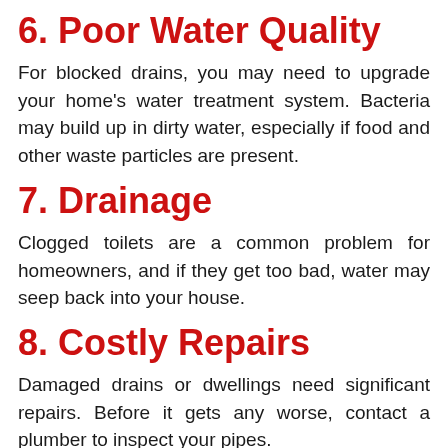6. Poor Water Quality
For blocked drains, you may need to upgrade your home's water treatment system. Bacteria may build up in dirty water, especially if food and other waste particles are present.
7. Drainage
Clogged toilets are a common problem for homeowners, and if they get too bad, water may seep back into your house.
8. Costly Repairs
Damaged drains or dwellings need significant repairs. Before it gets any worse, contact a plumber to inspect your pipes.
9. Leaky Pipes